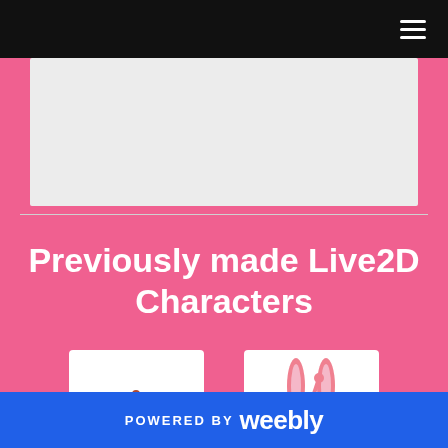Navigation bar with hamburger menu icon
[Figure (illustration): Gray banner/header image area placeholder]
Previously made Live2D Characters
[Figure (illustration): Anime character with brown hair and red beret wearing glasses and green outfit]
[Figure (illustration): Anime character with pink bunny ears and pink hair with accessories]
POWERED BY weebly